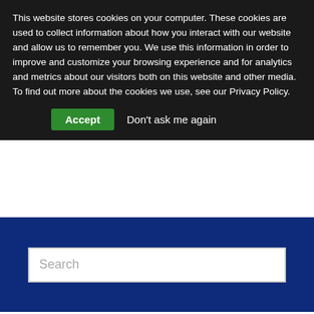This website stores cookies on your computer. These cookies are used to collect information about how you interact with our website and allow us to remember you. We use this information in order to improve and customize your browsing experience and for analytics and metrics about our visitors both on this website and other media. To find out more about the cookies we use, see our Privacy Policy.
Accept | Don't ask me again
[Figure (screenshot): Search bar on dark navy blue background]
Guess Who Lesson Plan
Topics: Autism & Preschool Lesson Plans, Elementary (4-12) Lesson Plans...